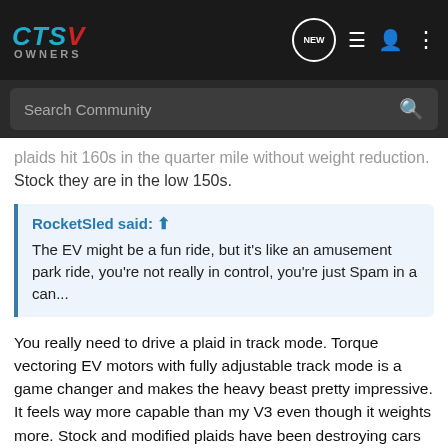CTSV OWNERS — navigation bar with search
plaids hit 160s in the quarter mile without weight reduction. Stock they are in the low 150s.
RocketSled said: ↑ The EV might be a fun ride, but it's like an amusement park ride, you're not really in control, you're just Spam in a can...
You really need to drive a plaid in track mode. Torque vectoring EV motors with fully adjustable track mode is a game changer and makes the heavy beast pretty impressive. It feels way more capable than my V3 even though it weights more. Stock and modified plaids have been destroying cars on road courses... not just straight line:
Mountain Race Performance